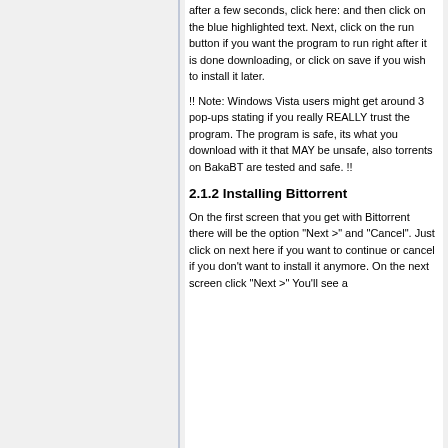after a few seconds, click here:  and then click on the blue highlighted text. Next, click on the run button if you want the program to run right after it is done downloading, or click on save if you wish to install it later.
!! Note: Windows Vista users might get around 3 pop-ups stating if you really REALLY trust the program. The program is safe, its what you download with it that MAY be unsafe, also torrents on BakaBT are tested and safe. !!
2.1.2 Installing Bittorrent
On the first screen that you get with Bittorrent there will be the option "Next >" and "Cancel". Just click on next here if you want to continue or cancel if you don't want to install it anymore. On the next screen click "Next >" You'll see a